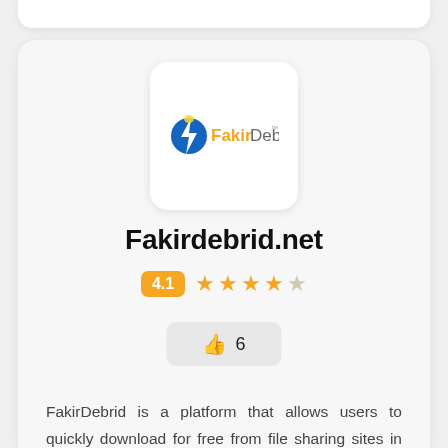[Figure (logo): FakirDebrid logo: blue lightning/speed icon with orange and grey text reading 'FakirDebrid']
Fakirdebrid.net
4.1  ★★★★☆
👍 6
FakirDebrid is a platform that allows users to quickly download for free from file sharing sites in the supported file host list on the site. This platform is designed to help users to download files...